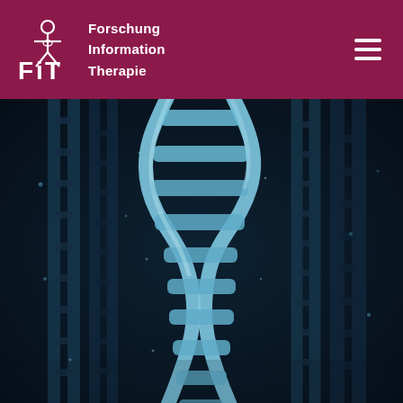FiT Forschung Information Therapie
[Figure (illustration): Close-up 3D render of a DNA double helix structure in blue-teal tones against a dark background, with detailed strand textures and cross-links visible.]